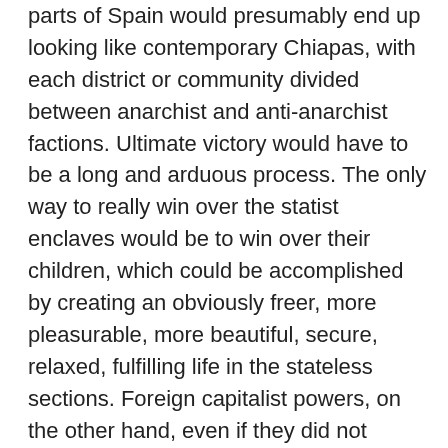parts of Spain would presumably end up looking like contemporary Chiapas, with each district or community divided between anarchist and anti-anarchist factions. Ultimate victory would have to be a long and arduous process. The only way to really win over the statist enclaves would be to win over their children, which could be accomplished by creating an obviously freer, more pleasurable, more beautiful, secure, relaxed, fulfilling life in the stateless sections. Foreign capitalist powers, on the other hand, even if they did not intervene militarily, would do everything possible to head off the notorious “threat of a good example” by economic boycotts and subversion, and by pouring resources into the statist zones. In the end, everything would probably depend on the degree to which anarchist